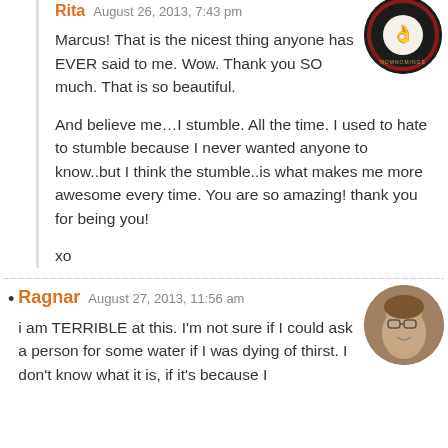Rita  August 26, 2013, 7:43 pm
Marcus! That is the nicest thing anyone has EVER said to me. Wow. Thank you SO much. That is so beautiful.
And believe me…I stumble. All the time. I used to hate to stumble because I never wanted anyone to know..but I think the stumble..is what makes me more awesome every time. You are so amazing! thank you for being you!
xo
Ragnar  August 27, 2013, 11:56 am
i am TERRIBLE at this. I'm not sure if I could ask a person for some water if I was dying of thirst. I don't know what it is, if it's because I